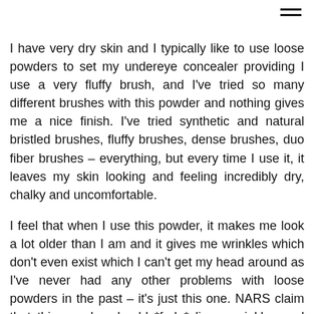I have very dry skin and I typically like to use loose powders to set my undereye concealer providing I use a very fluffy brush, and I've tried so many different brushes with this powder and nothing gives me a nice finish. I've tried synthetic and natural bristled brushes, fluffy brushes, dense brushes, duo fiber brushes – everything, but every time I use it, it leaves my skin looking and feeling incredibly dry, chalky and uncomfortable.
I feel that when I use this powder, it makes me look a lot older than I am and it gives me wrinkles which don't even exist which I can't get my head around as I've never had any other problems with loose powders in the past – it's just this one. NARS claim that this powder should *fade* lines, wrinkles and pores but on me it does the complete opposite and I don't know why.